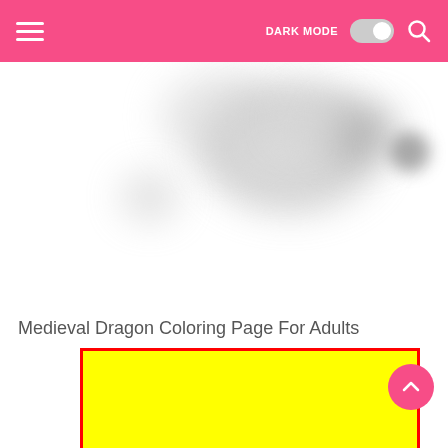DARK MODE [toggle] [search]
[Figure (photo): Blurred/faded image of a medieval dragon coloring page, partially visible at top of screen]
[Figure (other): A red-bordered rounded rectangle 'close' button overlay in red italic bold text on white background]
Medieval Dragon Coloring Page For Adults
[Figure (other): Large yellow advertisement box with red border occupying the lower portion of the page]
[Figure (other): Pink circular FAB (floating action button) with upward chevron arrow, bottom right corner]